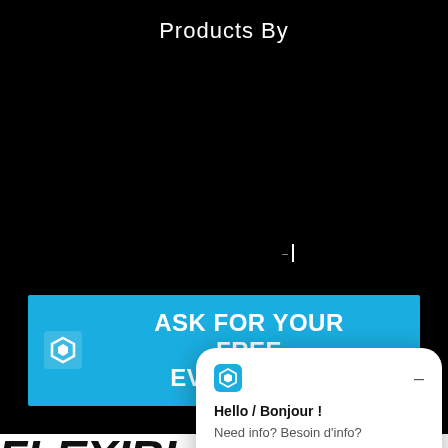Products By
[Figure (screenshot): Dark background section with 'Products By' heading and cursor blinking element]
[Figure (infographic): Blue banner with Squaretalk logo and text: ASK FOR YOUR FREE EVALUATION]
FLEXIBLE F...
[Figure (screenshot): Chat widget popup: Hello / Bonjour! Need info? Besoin d'info? Chat now]